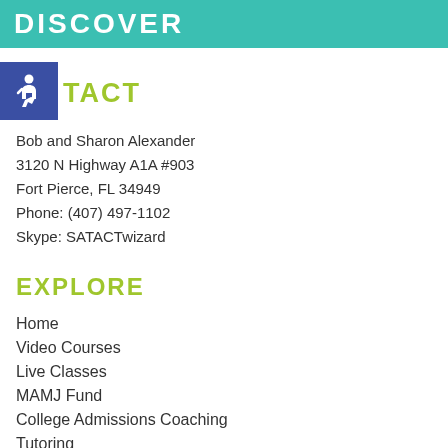DISCOVER
CONTACT
Bob and Sharon Alexander
3120 N Highway A1A #903
Fort Pierce, FL 34949
Phone: (407) 497-1102
Skype: SATACTwizard
EXPLORE
Home
Video Courses
Live Classes
MAMJ Fund
College Admissions Coaching
Tutoring